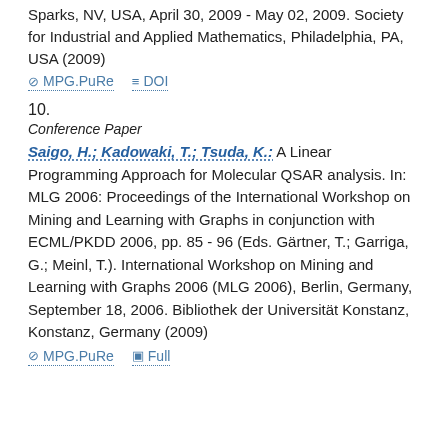Sparks, NV, USA, April 30, 2009 - May 02, 2009. Society for Industrial and Applied Mathematics, Philadelphia, PA, USA (2009)
MPG.PuRe   DOI
10.
Conference Paper
Saigo, H.; Kadowaki, T.; Tsuda, K.: A Linear Programming Approach for Molecular QSAR analysis. In: MLG 2006: Proceedings of the International Workshop on Mining and Learning with Graphs in conjunction with ECML/PKDD 2006, pp. 85 - 96 (Eds. Gärtner, T.; Garriga, G.; Meinl, T.). International Workshop on Mining and Learning with Graphs 2006 (MLG 2006), Berlin, Germany, September 18, 2006. Bibliothek der Universität Konstanz, Konstanz, Germany (2009)
MPG.PuRe   Full